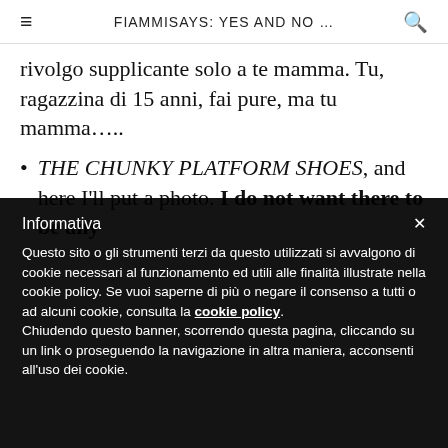FIAMMISAYS: YES AND NO …
rivolgo supplicante solo a te mamma. Tu, ragazzina di 15 anni, fai pure, ma tu mamma…..
THE CHUNKY PLATFORM SHOES, and here I'll put a photo. I do not want there to be any
Informativa
Questo sito o gli strumenti terzi da questo utilizzati si avvalgono di cookie necessari al funzionamento ed utili alle finalità illustrate nella cookie policy. Se vuoi saperne di più o negare il consenso a tutti o ad alcuni cookie, consulta la cookie policy.
Chiudendo questo banner, scorrendo questa pagina, cliccando su un link o proseguendo la navigazione in altra maniera, acconsenti all'uso dei cookie.